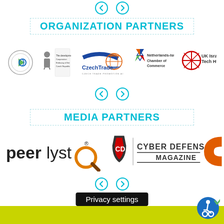[Figure (other): Navigation arrows (left/right circles) at top]
ORGANIZATION PARTNERS
[Figure (other): Organization partner logos: unnamed circle logo, Czech Embassy logo, CzechTrade logo, Netherlands-Israel Chamber of Commerce logo, UK Israel Tech HUB logo]
[Figure (other): Navigation arrows (left/right circles) below org partners]
MEDIA PARTNERS
[Figure (other): Media partner logos: peerlyst logo with magnifying glass, Cyber Defense Magazine logo, partial orange logo on right]
[Figure (other): Navigation arrows (left/right circles) below media partners]
Privacy settings
[Figure (other): Accessibility icon (wheelchair with checkmark) bottom right]